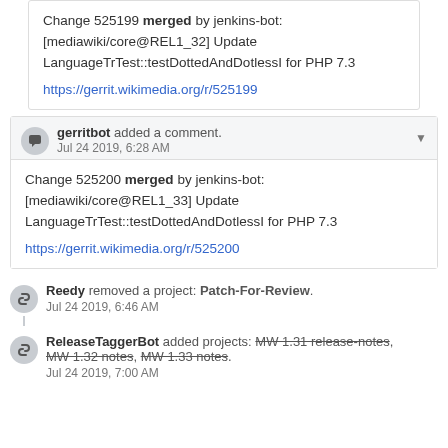Change 525199 merged by jenkins-bot: [mediawiki/core@REL1_32] Update LanguageTrTest::testDottedAndDotlessI for PHP 7.3
https://gerrit.wikimedia.org/r/525199
gerritbot added a comment. Jul 24 2019, 6:28 AM
Change 525200 merged by jenkins-bot: [mediawiki/core@REL1_33] Update LanguageTrTest::testDottedAndDotlessI for PHP 7.3
https://gerrit.wikimedia.org/r/525200
Reedy removed a project: Patch-For-Review. Jul 24 2019, 6:46 AM
ReleaseTaggerBot added projects: MW 1.31 release-notes, MW 1.32 notes, MW 1.33 notes. Jul 24 2019, 7:00 AM